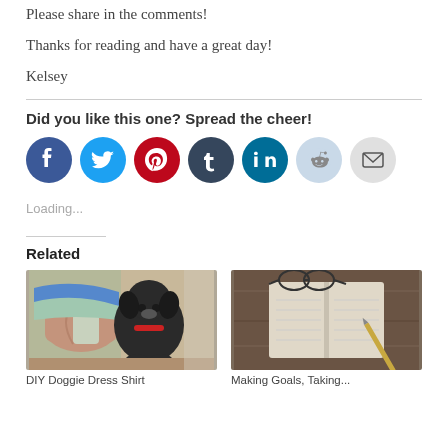Please share in the comments!
Thanks for reading and have a great day!
Kelsey
Did you like this one? Spread the cheer!
[Figure (infographic): Social sharing buttons: Facebook (blue), Twitter (light blue), Pinterest (red), Tumblr (dark blue), LinkedIn (teal), Reddit (light blue/grey), Email (grey)]
Loading...
Related
[Figure (photo): Photo of a dog wearing a dress shirt collar, with other shirt collars laid out. Caption: DIY Doggie Dress Shirt]
[Figure (photo): Photo of an open notebook with a pencil and glasses on a wooden surface. Caption: Making Goals, Taking...]
DIY Doggie Dress Shirt
Making Goals, Taking...